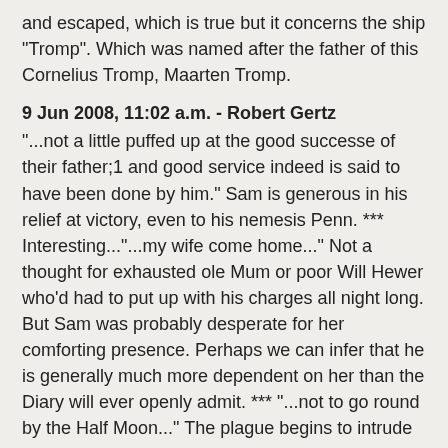and escaped, which is true but it concerns the ship "Tromp". Which was named after the father of this Cornelius Tromp, Maarten Tromp.
9 Jun 2008, 11:02 a.m. - Robert Gertz
"...not a little puffed up at the good successe of their father;1 and good service indeed is said to have been done by him." Sam is generous in his relief at victory, even to his nemesis Penn. *** Interesting..."...my wife come home..." Not a thought for exhausted ole Mum or poor Will Hewer who'd had to put up with his charges all night long. But Sam was probably desperate for her comforting presence. Perhaps we can infer that he is generally much more dependent on her than the Diary will ever openly admit. *** "...not to go round by the Half Moon..." The plague begins to intrude on daily life.
9 Jun 2008, 11:04 a.m. - Robert Gertz
Whoops. To go round, not not to go round...Reading too fast early in the am.